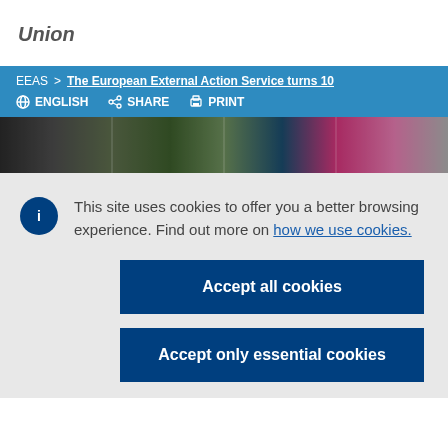Union
EEAS > The European External Action Service turns 10
ENGLISH   SHARE   PRINT
[Figure (photo): A horizontal photo strip showing outdoor scenes with people]
This site uses cookies to offer you a better browsing experience. Find out more on how we use cookies.
Accept all cookies
Accept only essential cookies